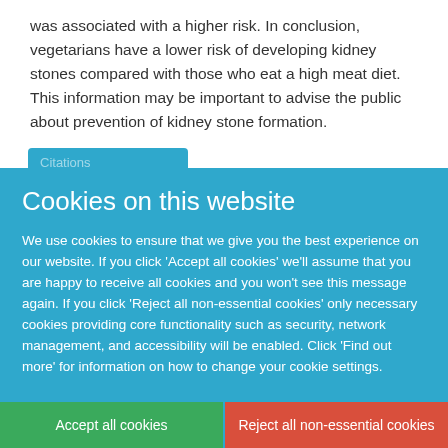was associated with a higher risk. In conclusion, vegetarians have a lower risk of developing kidney stones compared with those who eat a high meat diet. This information may be important to advise the public about prevention of kidney stone formation.
Cookies on this website
We use cookies to ensure that we give you the best experience on our website. If you click 'Accept all cookies' we'll assume that you are happy to receive all cookies and you won't see this message again. If you click 'Reject all non-essential cookies' only necessary cookies providing core functionality such as security, network management, and accessibility will be enabled. Click 'Find out more' for information on how to change your cookie settings.
Accept all cookies
Reject all non-essential cookies